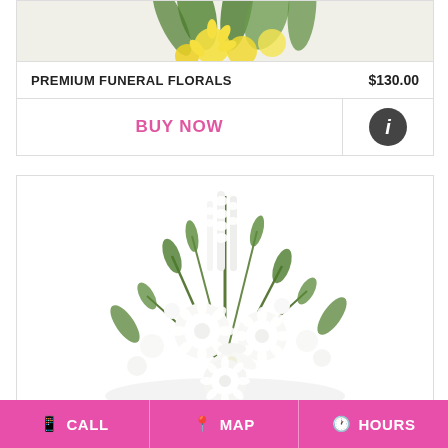[Figure (photo): Top portion of a yellow and white floral arrangement (alstroemeria and greenery) cropped at the top of the card]
PREMIUM FUNERAL FLORALS    $130.00
BUY NOW
[Figure (photo): White funeral floral arrangement in a basket with white chrysanthemums, lilies, gladioli, and green foliage on white background]
CALL   MAP   HOURS